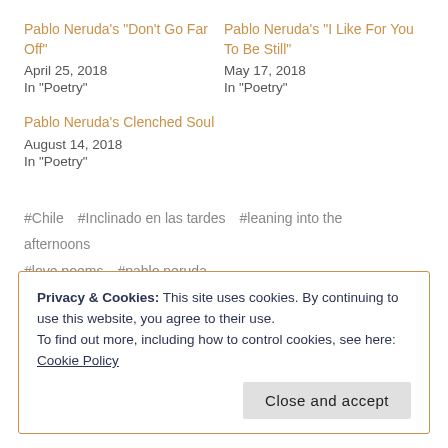Pablo Neruda's "Don't Go Far Off"
April 25, 2018
In "Poetry"
Pablo Neruda's "I Like For You To Be Still"
May 17, 2018
In "Poetry"
Pablo Neruda's Clenched Soul
August 14, 2018
In "Poetry"
#Chile   #Inclinado en las tardes   #leaning into the afternoons   #love poems   #pablo neruda
Privacy & Cookies: This site uses cookies. By continuing to use this website, you agree to their use.
To find out more, including how to control cookies, see here: Cookie Policy
Close and accept